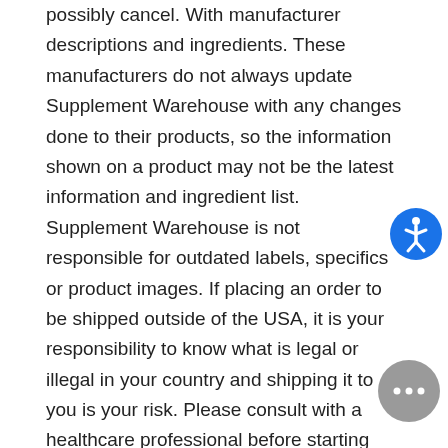possibly cancel. With manufacturer descriptions and ingredients. These manufacturers do not always update Supplement Warehouse with any changes done to their products, so the information shown on a product may not be the latest information and ingredient list. Supplement Warehouse is not responsible for outdated labels, specifics or product images. If placing an order to be shipped outside of the USA, it is your responsibility to know what is legal or illegal in your country and shipping it to you is your risk. Please consult with a healthcare professional before starting any diet or exercise program.
FDA: These statements have not been evaluated by the Food and Drug Administration. This product is not intended to diagnose, treat, cure, or prevent any di...
California Proposition 65 WARNING: Consuming this...